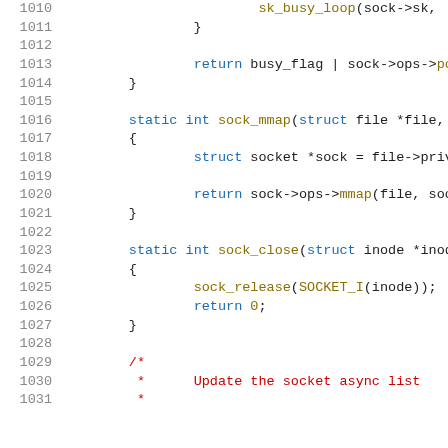[Figure (screenshot): Source code listing showing lines 1010-1031 of a C kernel file (socket.c). The code shows parts of socket poll, sock_mmap, sock_close functions and the beginning of a comment block. Line numbers in gray on the left, keywords in blue, function names in olive/yellow, comments in red.]